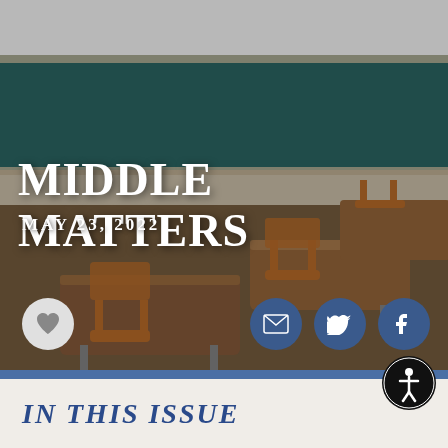[Figure (photo): Classroom background photo showing student desks with orange chairs, chalkboard in background with teal/green color. Photo has slight dark overlay.]
MIDDLE MATTERS
MAY 23, 2022
[Figure (illustration): Social sharing icons row: white heart button on grey circle (left), email envelope icon on blue circle, Twitter bird icon on blue circle, Facebook f icon on blue circle (right)]
IN THIS ISSUE
[Figure (illustration): Black accessibility icon button (person in circle) in bottom right corner]